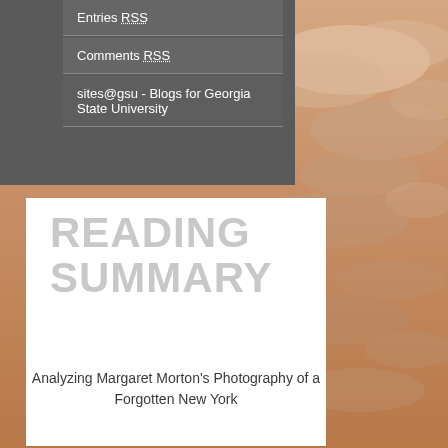[Figure (photo): Warm sepia/orange-toned sky with clouds, background image covering the right side and lower portion of the page]
Entries RSS
Comments RSS
sites@gsu - Blogs for Georgia State University
READING SUMMARY
Analyzing Margaret Morton's Photography of a Forgotten New York